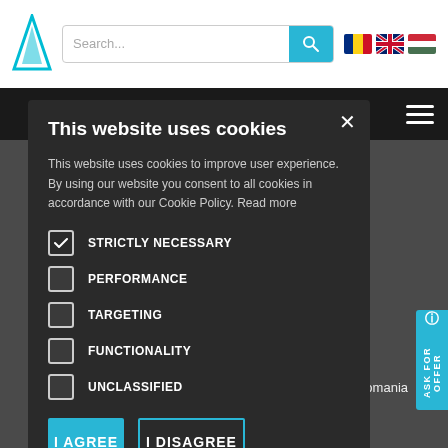[Figure (screenshot): Website header with logo, search bar, flag icons for Romania, UK, Hungary, and dark navigation bar with hamburger menu]
This website uses cookies
This website uses cookies to improve user experience. By using our website you consent to all cookies in accordance with our Cookie Policy. Read more
STRICTLY NECESSARY (checked)
PERFORMANCE
TARGETING
FUNCTIONALITY
UNCLASSIFIED
I AGREE | I DISAGREE